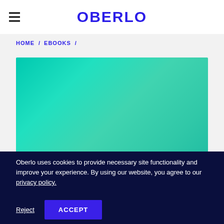OBERLO
HOME / EBOOKS /
[Figure (illustration): Teal/turquoise gradient background image used as ebook cover placeholder]
Oberlo uses cookies to provide necessary site functionality and improve your experience. By using our website, you agree to our privacy policy.
Reject  ACCEPT